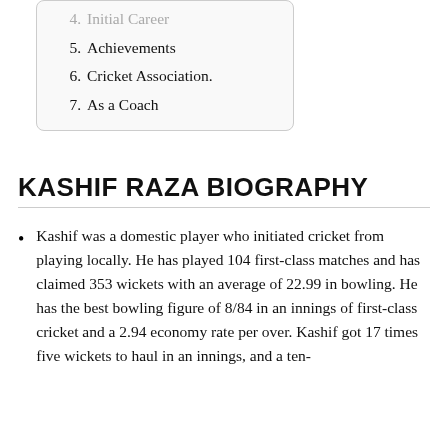4. Initial Career
5. Achievements
6. Cricket Association.
7. As a Coach
KASHIF RAZA BIOGRAPHY
Kashif was a domestic player who initiated cricket from playing locally. He has played 104 first-class matches and has claimed 353 wickets with an average of 22.99 in bowling. He has the best bowling figure of 8/84 in an innings of first-class cricket and a 2.94 economy rate per over. Kashif got 17 times five wickets to haul in an innings, and a ten-